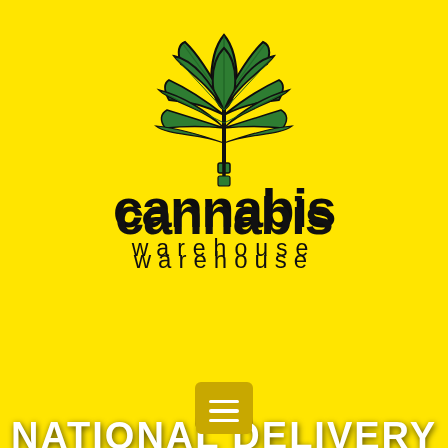[Figure (logo): Cannabis Warehouse logo with green cannabis leaf illustration above text 'cannabis warehouse' on yellow background]
[Figure (other): Hamburger menu button (three horizontal lines) on yellow-gold rounded rectangle]
R0.00  🛒 0
[Figure (photo): Dark photo of cannabis plant leaves with dark green tones, bottom half of page]
NATIONAL DELIVERY